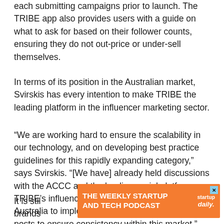each submitting campaigns prior to launch. The TRIBE app also provides users with a guide on what to ask for based on their follower counts, ensuring they do not out-price or under-sell themselves.
In terms of its position in the Australian market, Svirskis has every intention to make TRIBE the leading platform in the influencer marketing sector.
“We are working hard to ensure the scalability in our technology, and on developing best practice guidelines for this rapidly expanding category,” says Svirskis. “[We have] already held discussions with the ACCC and the leading social platforms. TRIBE’s influencer app is also the first platform in Australia to implement benchmark rates for social posts to ensure consistency within this market.”
It is stil... where brands ... ess,
[Figure (other): Advertisement banner for 'The Weekly Startup and Tech Podcast' by Startup Daily, orange background with white bold text and logo]